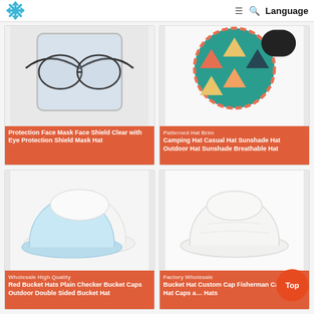Language
[Figure (photo): Product image: clear face shield/face mask with eye protection, shown with wire frame glasses]
Protection Face Mask Face Shield Clear with Eye Protection Shield Mask Hat
[Figure (photo): Product image: patterned hat brim camping hat, casual sunshade outdoor hat with colorful patterned design]
Patterned Hat Brim Camping Hat Casual Hat Sunshade Hat Outdoor Hat Sunshade Breathable Hat
[Figure (photo): Product image: white and light blue double-sided bucket hat]
Wholesale High Quality Red Bucket Hats Plain Checker Bucket Caps Outdoor Double Sided Bucket Hat
[Figure (photo): Product image: plain white bucket hat / fisherman cap]
Factory Wholesale Bucket Hat Custom Cap Fisherman Cap Bucket Hat Caps and Hats